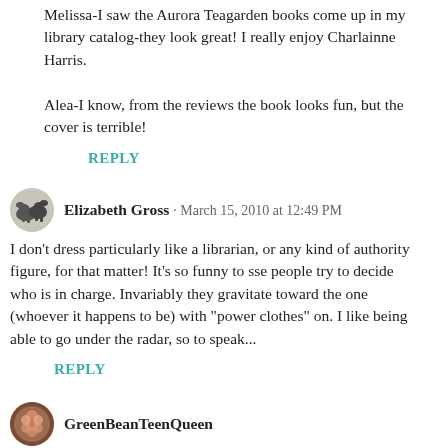Melissa-I saw the Aurora Teagarden books come up in my library catalog-they look great! I really enjoy Charlainne Harris.

Alea-I know, from the reviews the book looks fun, but the cover is terrible!
REPLY
Elizabeth Gross · March 15, 2010 at 12:49 PM
I don't dress particularly like a librarian, or any kind of authority figure, for that matter! It's so funny to sse people try to decide who is in charge. Invariably they gravitate toward the one (whoever it happens to be) with "power clothes" on. I like being able to go under the radar, so to speak...
REPLY
GreenBeanTeenQueen